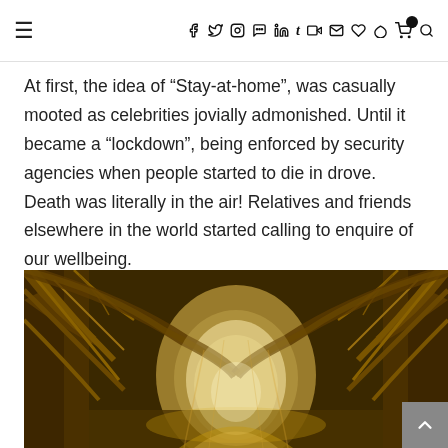≡  f  twitter  instagram  pinterest  in  t  youtube  mail  heart  snapchat  cart(0)  search
At first, the idea of “Stay-at-home”, was casually mooted as celebrities jovially admonished. Until it became a “lockdown”, being enforced by security agencies when people started to die in drove. Death was literally in the air! Relatives and friends elsewhere in the world started calling to enquire of our wellbeing.
[Figure (photo): A golden-toned forest path forming a natural tunnel of arching trees with light glowing at the distant end, misty and atmospheric.]